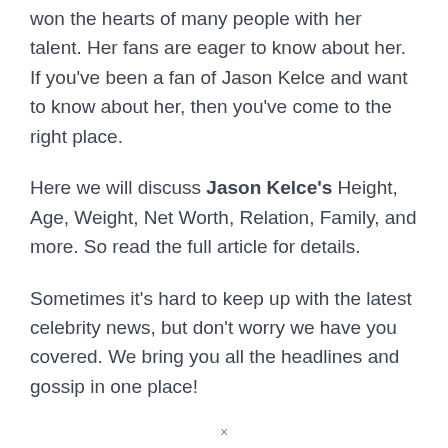won the hearts of many people with her talent. Her fans are eager to know about her. If you've been a fan of Jason Kelce and want to know about her, then you've come to the right place.
Here we will discuss Jason Kelce's Height, Age, Weight, Net Worth, Relation, Family, and more. So read the full article for details.
Sometimes it's hard to keep up with the latest celebrity news, but don't worry we have you covered. We bring you all the headlines and gossip in one place!
×